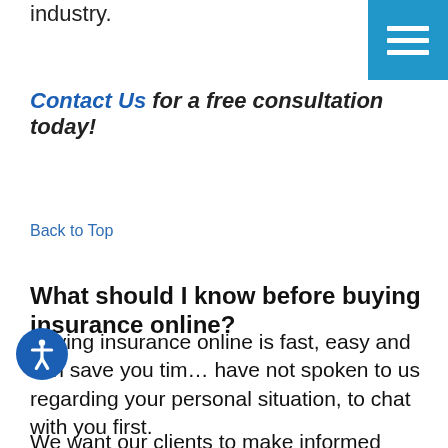industry.
[Figure (other): Navigation hamburger menu button (three white horizontal lines on blue background)]
Contact Us for a free consultation today!
Back to Top
What should I know before buying insurance online?
Buying insurance online is fast, easy and can save you time. If you have not spoken to us regarding your personal situation, we'd like to chat with you first.
We want our clients to make informed decisions to ensure they have the greatest coverage within their budget. At times we have experienced instances where people have not been fully protected because they focused soley on the price without thought to their coverage limits. Unfortunately, it is only when they experience a loss that they realize the full impact of their decision. Let us help you assess your risks to find an insurance plan to meet your personal needs.